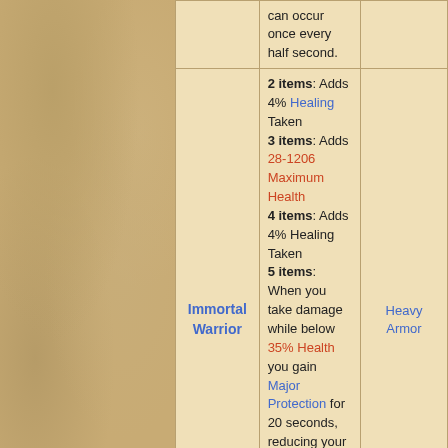| Set Name | Bonuses | Location(s) |
| --- | --- | --- |
|  | can occur once every half second. |  |
| Immortal Warrior | 2 items: Adds 4% Healing Taken
3 items: Adds 28-1206 Maximum Health
4 items: Adds 4% Healing Taken
5 items: When you take damage while below 35% Health you gain Major Protection for 20 seconds, reducing your damage taken by 10%. This effect can occur once every 20 seconds. | Heavy Armor |
| Set Name | Bonuses | Location(s) |